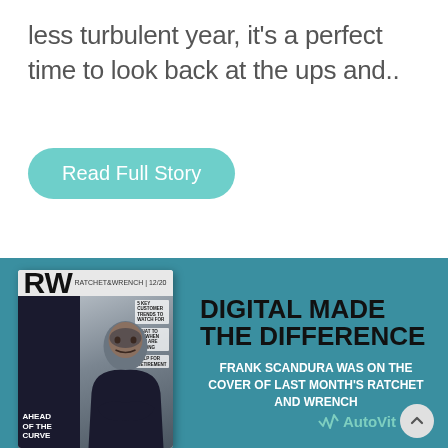less turbulent year, it's a perfect time to look back at the ups and..
Read Full Story
[Figure (photo): Promotional card with teal background showing a magazine cover (RW - Ratchet and Wrench) featuring Frank Scandura with text 'DIGITAL MADE THE DIFFERENCE - FRANK SCANDURA WAS ON THE COVER OF LAST MONTH'S RATCHET AND WRENCH' and AutoVitals logo]